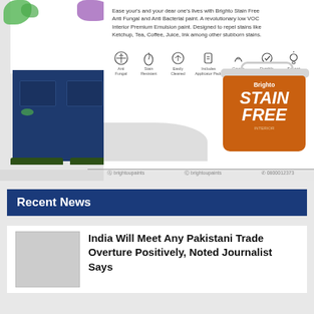[Figure (photo): Advertisement for Brighto Stain Free Anti Fungal and Anti Bacterial paint. Shows a person in white shirt and dark jeans with paint stains, alongside an orange paint bucket labeled 'Brighto STAIN FREE'. Icons for product features are displayed. Footer shows social media handles and phone number.]
Recent News
India Will Meet Any Pakistani Trade Overture Positively, Noted Journalist Says